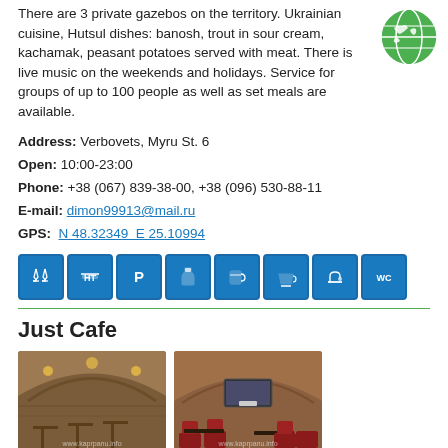There are 3 private gazebos on the territory. Ukrainian cuisine, Hutsul dishes: banosh, trout in sour cream, kachamak, peasant potatoes served with meat. There is live music on the weekends and holidays. Service for groups of up to 100 people as well as set meals are available.
Address: Verbovets, Myru St. 6
Open: 10:00-23:00
Phone: +38 (067) 839-38-00, +38 (096) 530-88-11
E-mail: dimon99913@mail.ru
GPS: N 48.32349  E 25.10994
[Figure (infographic): Row of blue amenity/facility icons: champagne glasses, hotel/table, parking P, wine bottle, beer mug, coffee cup, tap/bar, WC]
Just Cafe
[Figure (photo): Two interior photos of Just Cafe showing arched brick cellar-style rooms with wooden furniture and red seating]
Pub-cafe with 5 rooms (6, 15, 22, 24 and 30 places). European cuisine. Specialties: "Holonka (knuckle) from